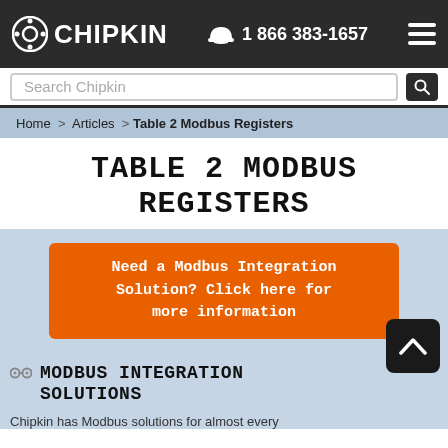CHIPKIN  1 866 383-1657
Search Chipkin
Home > Articles > Table 2 Modbus Registers
TABLE 2 MODBUS REGISTERS
Need a Modbus Integration Solution? Click here for more information
MODBUS INTEGRATION SOLUTIONS
Chipkin has Modbus solutions for almost every